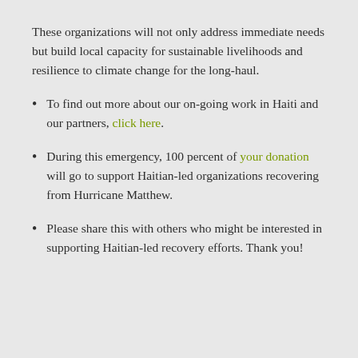These organizations will not only address immediate needs but build local capacity for sustainable livelihoods and resilience to climate change for the long-haul.
To find out more about our on-going work in Haiti and our partners, click here.
During this emergency, 100 percent of your donation will go to support Haitian-led organizations recovering from Hurricane Matthew.
Please share this with others who might be interested in supporting Haitian-led recovery efforts. Thank you!